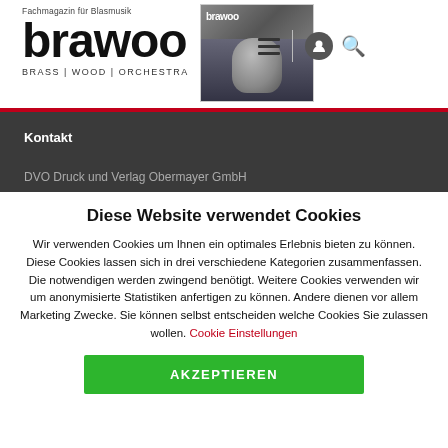[Figure (logo): brawoo magazine logo with tagline 'Fachmagazin für Blasmusik' and subtitle 'BRASS | WOOD | ORCHESTRA', plus magazine cover thumbnail showing a conductor]
Kontakt
DVO Druck und Verlag Obermayer GmbH
Diese Website verwendet Cookies
Wir verwenden Cookies um Ihnen ein optimales Erlebnis bieten zu können. Diese Cookies lassen sich in drei verschiedene Kategorien zusammenfassen. Die notwendigen werden zwingend benötigt. Weitere Cookies verwenden wir um anonymisierte Statistiken anfertigen zu können. Andere dienen vor allem Marketing Zwecke. Sie können selbst entscheiden welche Cookies Sie zulassen wollen. Cookie Einstellungen
AKZEPTIEREN